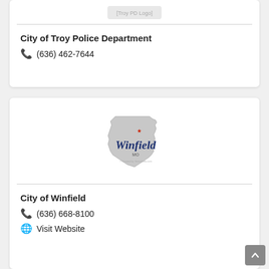[Figure (logo): Partial Troy Police Department logo image at top of card]
City of Troy Police Department
📞 (636) 462-7644
[Figure (logo): Missouri state shape with Winfield script text and red star marker]
City of Winfield
📞 (636) 668-8100
🌐 Visit Website